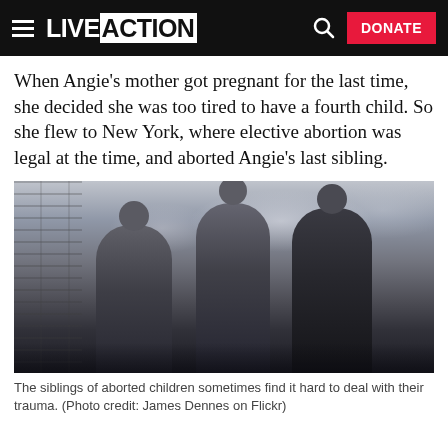LIVE ACTION | DONATE
When Angie’s mother got pregnant for the last time, she decided she was too tired to have a fourth child. So she flew to New York, where elective abortion was legal at the time, and aborted Angie’s last sibling.
[Figure (photo): Black and white photograph of three young people (two males and one female) standing side by side outdoors, looking upward, with a brick wall and cloudy sky in the background.]
The siblings of aborted children sometimes find it hard to deal with their trauma. (Photo credit: James Dennes on Flickr)